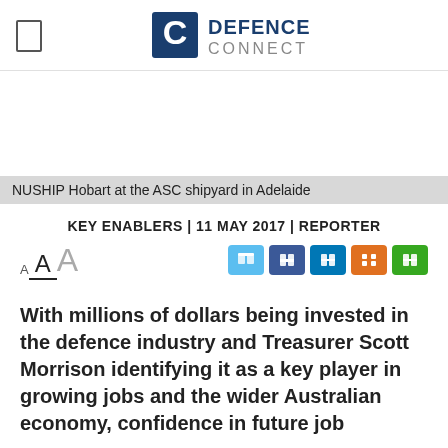DEFENCE CONNECT
NUSHIP Hobart at the ASC shipyard in Adelaide
KEY ENABLERS | 11 MAY 2017 | REPORTER
With millions of dollars being invested in the defence industry and Treasurer Scott Morrison identifying it as a key player in growing jobs and the wider Australian economy, confidence in future job